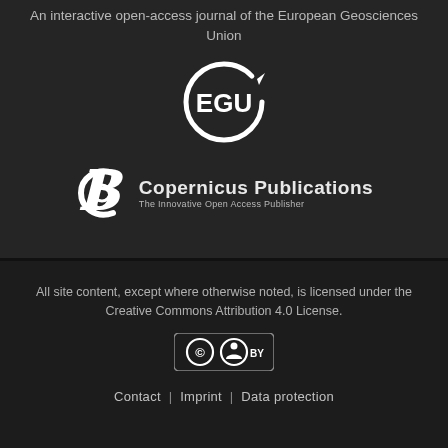An interactive open-access journal of the European Geosciences Union
[Figure (logo): EGU logo — white circular arrow with letters EGU inside]
[Figure (logo): Copernicus Publications logo — white stylized C icon with text 'Copernicus Publications' and subtitle 'The Innovative Open Access Publisher']
All site content, except where otherwise noted, is licensed under the Creative Commons Attribution 4.0 License.
[Figure (logo): Creative Commons BY license badge — CC and person icons in a rounded rectangle]
Contact  |  Imprint  |  Data protection